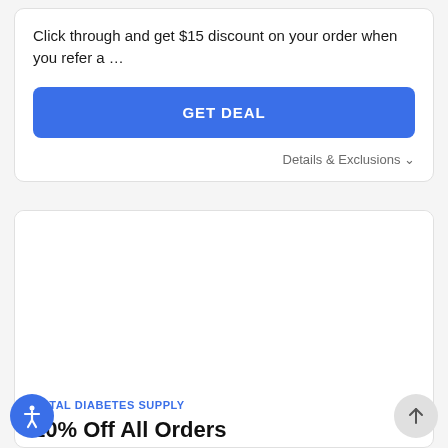Click through and get $15 discount on your order when you refer a …
GET DEAL
Details & Exclusions ∨
TOTAL DIABETES SUPPLY
10% Off All Orders